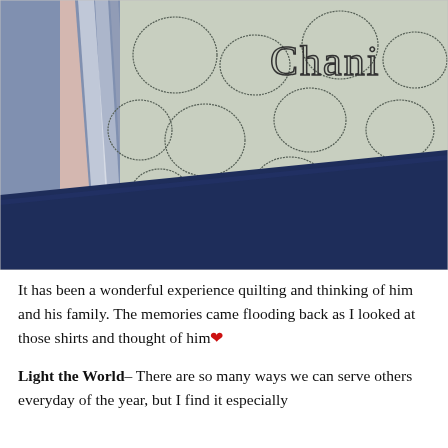[Figure (photo): Close-up photograph of a quilt made from shirts. The left portion shows striped fabric in blue/white/peach. The center and right show a light sage green quilted fabric with looping circular stitching patterns and the name 'Chani' embroidered/quilted in cursive at the top. A dark navy blue fabric panel runs diagonally across the lower portion of the quilt.]
It has been a wonderful experience quilting and thinking of him and his family. The memories came flooding back as I looked at those shirts and thought of him❤
Light the World– There are so many ways we can serve others everyday of the year, but I find it especially